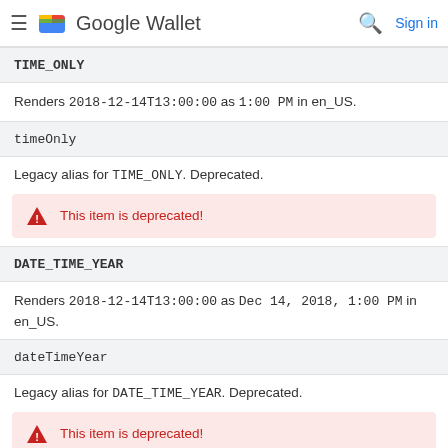Google Wallet — Sign in
TIME_ONLY
Renders 2018-12-14T13:00:00 as 1:00 PM in en_US.
timeOnly
Legacy alias for TIME_ONLY. Deprecated.
This item is deprecated!
DATE_TIME_YEAR
Renders 2018-12-14T13:00:00 as Dec 14, 2018, 1:00 PM in en_US.
dateTimeYear
Legacy alias for DATE_TIME_YEAR. Deprecated.
This item is deprecated!